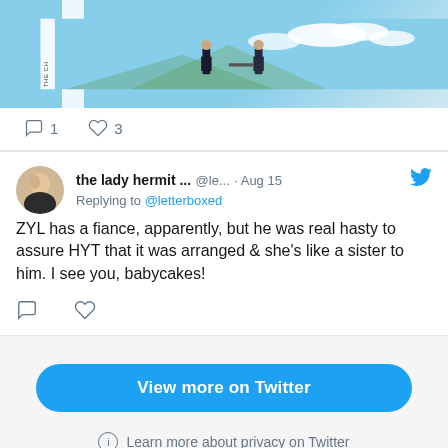[Figure (screenshot): Partial screenshot of a movie still showing two figures facing each other against a sky background, with vertical text overlay reading 'THE CH']
1  3
the lady hermit ... @le... · Aug 15
Replying to @letterboxed
ZYL has a fiance, apparently, but he was real hasty to assure HYT that it was arranged & she's like a sister to him. I see you, babycakes!
View more on Twitter
Learn more about privacy on Twitter